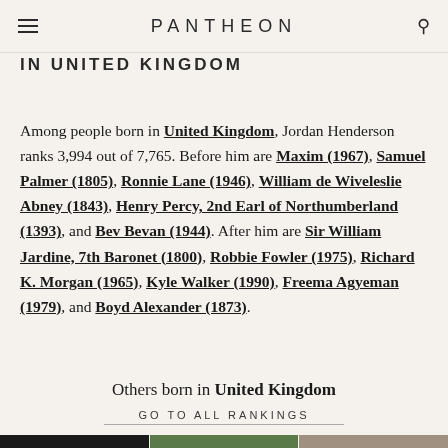PANTHEON
IN UNITED KINGDOM
Among people born in United Kingdom, Jordan Henderson ranks 3,994 out of 7,765. Before him are Maxim (1967), Samuel Palmer (1805), Ronnie Lane (1946), William de Wiveleslie Abney (1843), Henry Percy, 2nd Earl of Northumberland (1393), and Bev Bevan (1944). After him are Sir William Jardine, 7th Baronet (1800), Robbie Fowler (1975), Richard K. Morgan (1965), Kyle Walker (1990), Freema Agyeman (1979), and Boyd Alexander (1873).
Others born in United Kingdom
GO TO ALL RANKINGS
[Figure (photo): Three portrait photos of people born in United Kingdom]